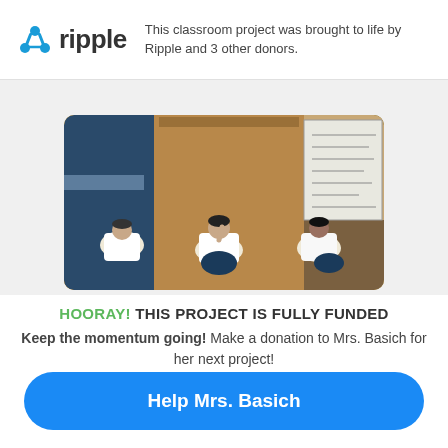[Figure (logo): Ripple logo with ripple wave icon in teal/blue and the word 'ripple' in dark gray bold text]
This classroom project was brought to life by Ripple and 3 other donors.
[Figure (photo): Photograph of students sitting on a classroom floor working on assignments, with a whiteboard visible in the background]
HOORAY! THIS PROJECT IS FULLY FUNDED
Keep the momentum going! Make a donation to Mrs. Basich for her next project!
Help Mrs. Basich